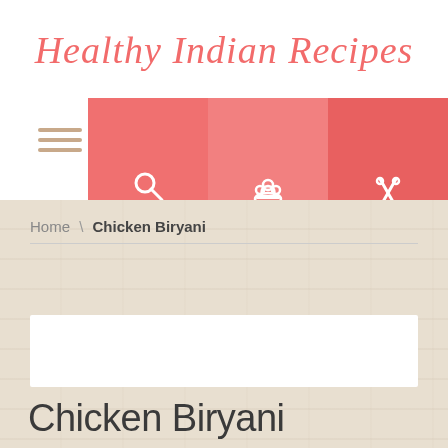Healthy Indian Recipes
[Figure (screenshot): Navigation bar with three buttons: Search For Recipes, My Account, Submit A Recipe, each with white icons on salmon/coral background]
Home \ Chicken Biryani
Chicken Biryani